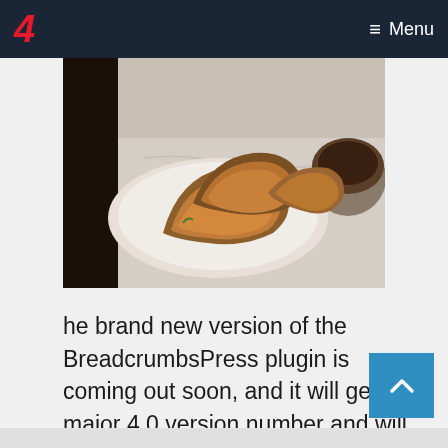4 Menu
[Figure (photo): A plate of golden-brown croissants on a white plate on a marble table, with a cup of coffee partially visible on the right.]
he brand new version of the BreadcrumbsPress plugin is coming out soon, and it will get a major 4.0 version number and will include blocks for the block editor, improved styling and rendering, and much more.